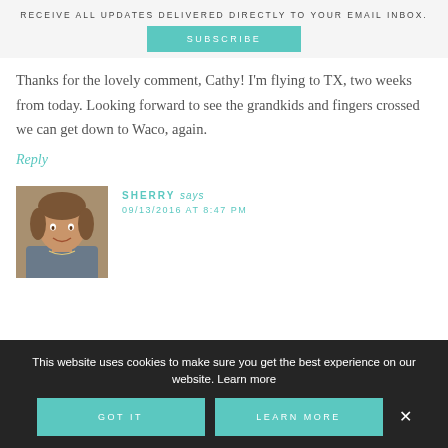RECEIVE ALL UPDATES DELIVERED DIRECTLY TO YOUR EMAIL INBOX.
SUBSCRIBE
Thanks for the lovely comment, Cathy! I'm flying to TX, two weeks from today. Looking forward to see the grandkids and fingers crossed we can get down to Waco, again.
Reply
[Figure (photo): Profile photo of a woman with short brown hair, smiling, wearing a necklace.]
SHERRY says
09/13/2016 AT 8:47 PM
This website uses cookies to make sure you get the best experience on our website. Learn more
GOT IT
LEARN MORE